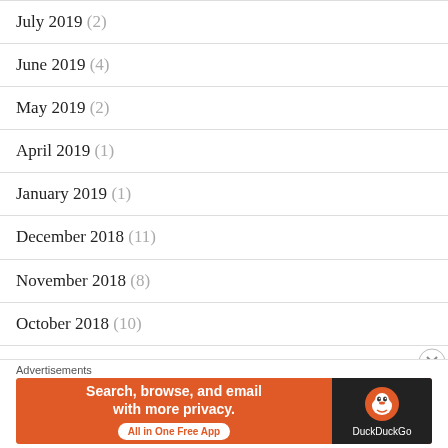July 2019 (2)
June 2019 (4)
May 2019 (2)
April 2019 (1)
January 2019 (1)
December 2018 (11)
November 2018 (8)
October 2018 (10)
September 2018 (7)
August 2018 (7)
Advertisements
[Figure (infographic): DuckDuckGo advertisement banner: 'Search, browse, and email with more privacy. All in One Free App' with DuckDuckGo logo on dark background]